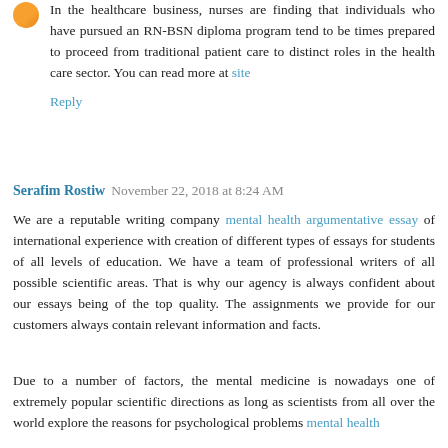In the healthcare business, nurses are finding that individuals who have pursued an RN-BSN diploma program tend to be times prepared to proceed from traditional patient care to distinct roles in the health care sector. You can read more at site
Reply
Serafim Rostiw  November 22, 2018 at 8:24 AM
We are a reputable writing company mental health argumentative essay of international experience with creation of different types of essays for students of all levels of education. We have a team of professional writers of all possible scientific areas. That is why our agency is always confident about our essays being of the top quality. The assignments we provide for our customers always contain relevant information and facts.
Due to a number of factors, the mental medicine is nowadays one of extremely popular scientific directions as long as scientists from all over the world explore the reasons for psychological problems mental health